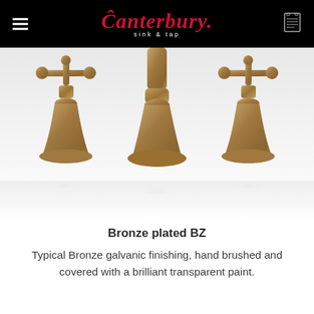Canterbury sink & tap
[Figure (photo): Three antique bronze-plated tap/faucet pieces with cross handles, shown on a white reflective surface. The pieces have a warm golden-brown antiqued finish.]
Bronze plated BZ
Typical Bronze galvanic finishing, hand brushed and covered with a brilliant transparent paint.